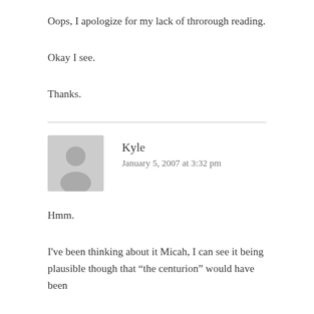Oops, I apologize for my lack of throrough reading.
Okay I see.
Thanks.
Kyle
January 5, 2007 at 3:32 pm
Hmm.
I've been thinking about it Micah, I can see it being plausible though that “the centurion” would have been